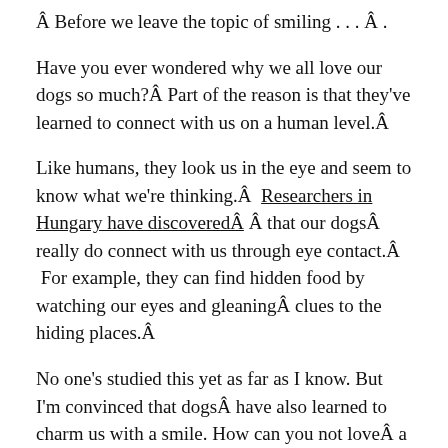Â Before we leave the topic of smiling . . . Â .
Have you ever wondered why we all love our dogs so much?Â Part of the reason is that they've learned to connect with us on a human level.Â
Like humans, they look us in the eye and seem to know what we're thinking.Â  Researchers in Hungary have discoveredÂ Â that our dogsÂ really do connect with us through eye contact.Â  For example, they can find hidden food by watching our eyes and gleaningÂ clues to the hiding places.Â
No one's studied this yet as far as I know. But I'm convinced that dogsÂ have also learned to charm us with a smile. How can you not loveÂ a dog that looks at you and smiles?